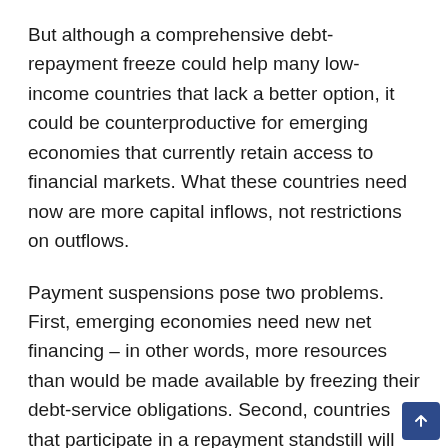But although a comprehensive debt-repayment freeze could help many low-income countries that lack a better option, it could be counterproductive for emerging economies that currently retain access to financial markets. What these countries need now are more capital inflows, not restrictions on outflows.
Payment suspensions pose two problems. First, emerging economies need new net financing – in other words, more resources than would be made available by freezing their debt-service obligations. Second, countries that participate in a repayment standstill will face legal action by some bondholders, compromising their future access to capital markets.